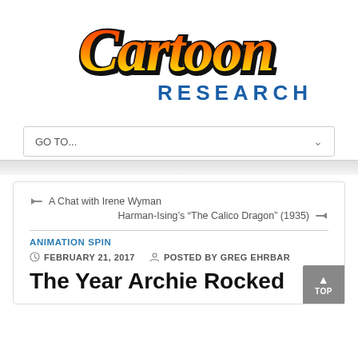[Figure (logo): Cartoon Research logo with stylized 'Cartoon' text in orange/red/yellow gradient and 'RESEARCH' in blue block letters below]
[Figure (screenshot): Navigation dropdown bar with 'GO TO...' text and a chevron]
A Chat with Irene Wyman
Harman-Ising's “The Calico Dragon” (1935)
ANIMATION SPIN
FEBRUARY 21, 2017   POSTED BY GREG EHRBAR
The Year Archie Rocked